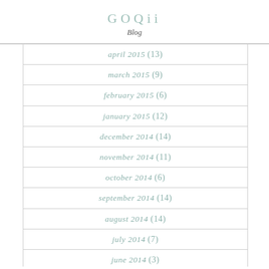GOQii
Blog
april 2015 (13)
march 2015 (9)
february 2015 (6)
january 2015 (12)
december 2014 (14)
november 2014 (11)
october 2014 (6)
september 2014 (14)
august 2014 (14)
july 2014 (7)
june 2014 (3)
may 2014 (8)